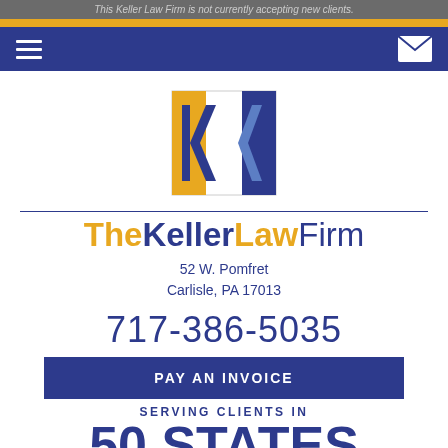This Keller Law Firm is not currently accepting new clients.
[Figure (logo): The Keller Law Firm logo - double K shape in blue and gold on white background]
TheKellerLawFirm
52 W. Pomfret
Carlisle, PA 17013
717-386-5035
PAY AN INVOICE
SERVING CLIENTS IN
50 STATES